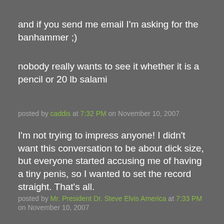and if you send me email I'm asking for the banhammer ;)
nobody really wants to see it whether it is a pencil or 20 lb salami
posted by caddis at 7:32 PM on November 10, 2007
I'm not trying to impress anyone! I didn't want this conversation to be about dick size, but everyone started accusing me of having a tiny penis, so I wanted to set the record straight. That's all.
posted by Mr. President Dr. Steve Elvis America at 7:33 PM on November 10, 2007
anyway, as they say, talk softly and carry a big stick
posted by caddis at 7:35 PM on November 10, 2007